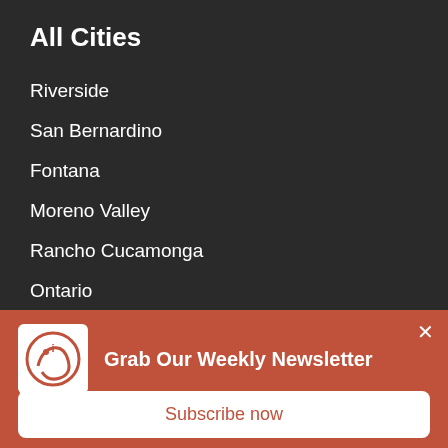All Cities
Riverside
San Bernardino
Fontana
Moreno Valley
Rancho Cucamonga
Ontario
Corona
[Figure (logo): IE (Inland Empire) circular logo on white background]
Grab Our Weekly Newsletter
Subscribe now